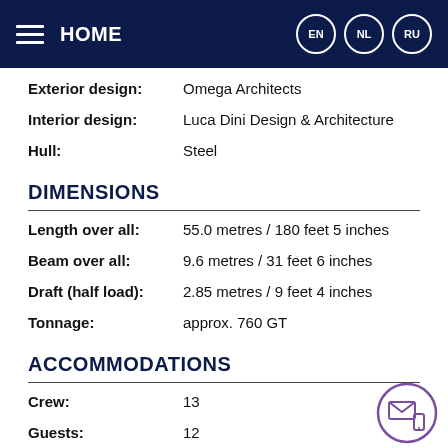HOME | EN | NL | RU
Exterior design: Omega Architects
Interior design: Luca Dini Design & Architecture
Hull: Steel
DIMENSIONS
Length over all: 55.0 metres / 180 feet 5 inches
Beam over all: 9.6 metres / 31 feet 6 inches
Draft (half load): 2.85 metres / 9 feet 4 inches
Tonnage: approx. 760 GT
ACCOMMODATIONS
Crew: 13
Guests: 12
Cabins: Full-beam owner's stateroom, four double guest suites, one VIP